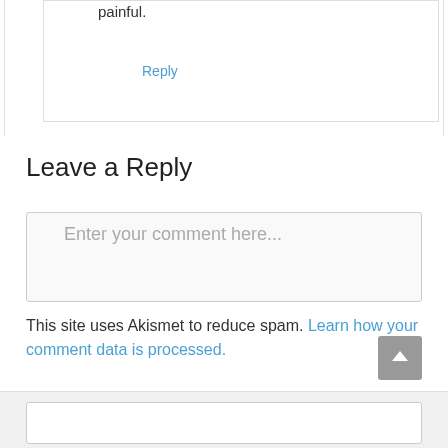painful.
Reply
Leave a Reply
Enter your comment here...
This site uses Akismet to reduce spam. Learn how your comment data is processed.